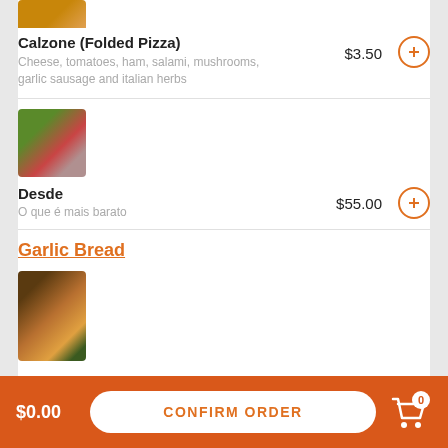[Figure (photo): Partial top image of calzone/pizza food item]
Calzone (Folded Pizza)
$3.50
Cheese, tomatoes, ham, salami, mushrooms, garlic sausage and italian herbs
[Figure (photo): Salad in a bowl with greens and red vegetables]
Desde
$55.00
O que é mais barato
Garlic Bread
[Figure (photo): Roasted chicken on a plate with garnish]
$0.00   CONFIRM ORDER   0